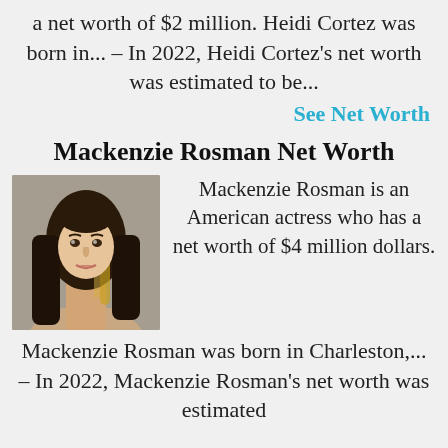a net worth of $2 million. Heidi Cortez was born in... – In 2022, Heidi Cortez's net worth was estimated to be...
See Net Worth
Mackenzie Rosman Net Worth
[Figure (photo): Photo of Mackenzie Rosman, a young woman with long dark hair with blonde highlights]
Mackenzie Rosman is an American actress who has a net worth of $4 million dollars.
Mackenzie Rosman was born in Charleston,... – In 2022, Mackenzie Rosman's net worth was estimated